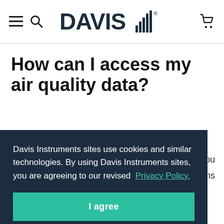Davis Instruments — navigation header with hamburger menu, search, logo, and cart
How can I access my air quality data?
Once your AirLink is deployed in the field and configured in
Davis Instruments sites use cookies and similar technologies. By using Davis Instruments sites, you are agreeing to our revised Privacy Policy.
I agree
. You ations